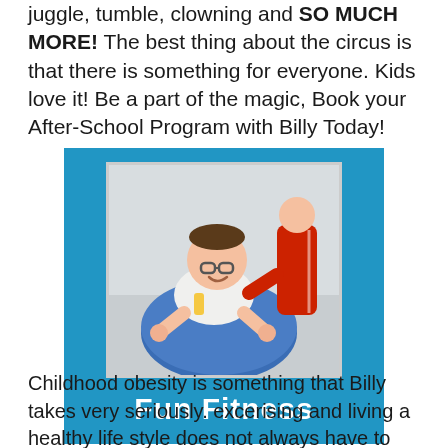juggle, tumble, clowning and SO MUCH MORE!  The best thing about the circus is that there is something for everyone.  Kids love it!  Be a part of the magic, Book your After-School Program with Billy Today!
[Figure (photo): Blue box containing a photo of a boy with glasses doing an exercise on a blue ball, assisted by a person in red. Below the photo, bold white text reads 'Fun Fitness'.]
Childhood obesity is something that Billy takes very seriously.  excerising and living a healthy life style does not always have to feel like a chore.  Billy enjoys exploring fitness through a fun and active way with